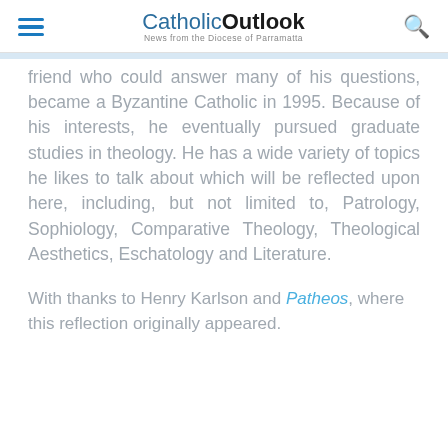CatholicOutlook — News from the Diocese of Parramatta
friend who could answer many of his questions, became a Byzantine Catholic in 1995. Because of his interests, he eventually pursued graduate studies in theology. He has a wide variety of topics he likes to talk about which will be reflected upon here, including, but not limited to, Patrology, Sophiology, Comparative Theology, Theological Aesthetics, Eschatology and Literature.
With thanks to Henry Karlson and Patheos, where this reflection originally appeared.